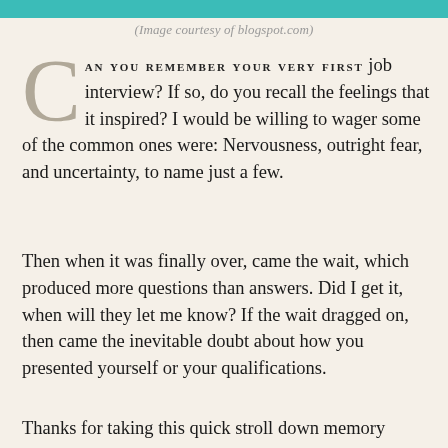(Image courtesy of blogspot.com)
CAN YOU REMEMBER YOUR VERY FIRST job interview? If so, do you recall the feelings that it inspired? I would be willing to wager some of the common ones were: Nervousness, outright fear, and uncertainty, to name just a few.
Then when it was finally over, came the wait, which produced more questions than answers. Did I get it, when will they let me know? If the wait dragged on, then came the inevitable doubt about how you presented yourself or your qualifications.
Thanks for taking this quick stroll down memory